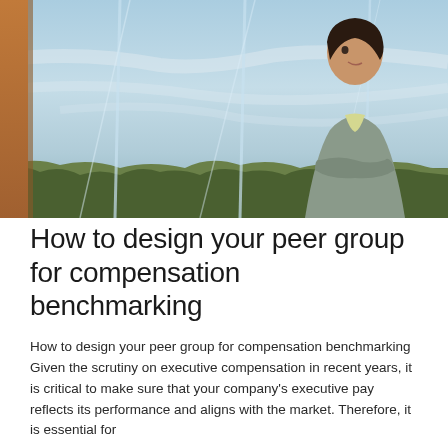[Figure (photo): A woman in a grey business jacket standing near large glass windows with reflections of sky and trees visible in the glass panels. She appears to be looking upward thoughtfully.]
How to design your peer group for compensation benchmarking
How to design your peer group for compensation benchmarking  Given the scrutiny on executive compensation in recent years, it is critical to make sure that your company's executive pay reflects its performance and aligns with the market. Therefore, it is essential for